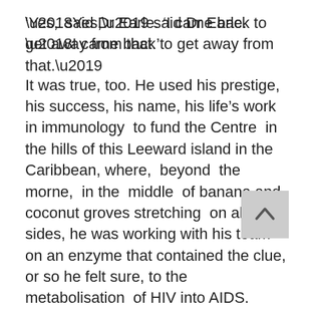‘Yes,’ said Dr Earle. ‘I came back to get away from that.’
It was true, too. He used his prestige, his success, his name, his life’s work in immunology to fund the Centre in the hills of this Leeward island in the Caribbean, where, beyond the morne, in the middle of banana and coconut groves stretching on all sides, he was working with his team on an enzyme that contained the clue, or so he felt sure, to the metabolisation of HIV into AIDS.
The vervet monkeys whom the lab used had been providing for five years now the basic material for the